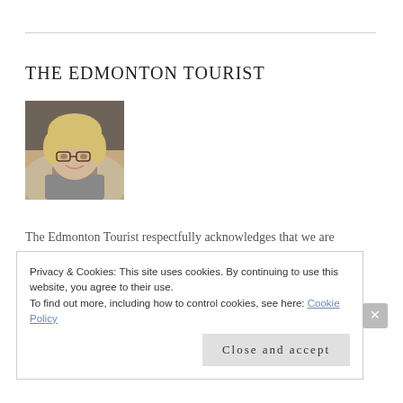THE EDMONTON TOURIST
[Figure (photo): Portrait photo of a middle-aged woman with short blonde hair and glasses, smiling, wearing a gray top]
The Edmonton Tourist respectfully acknowledges that we are located on Treaty 6 territory, a traditional gathering place for diverse
Privacy & Cookies: This site uses cookies. By continuing to use this website, you agree to their use.
To find out more, including how to control cookies, see here: Cookie Policy
Close and accept